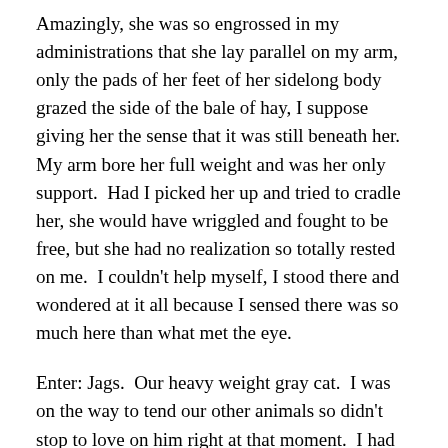Amazingly, she was so engrossed in my administrations that she lay parallel on my arm, only the pads of her feet of her sidelong body grazed the side of the bale of hay, I suppose giving her the sense that it was still beneath her.  My arm bore her full weight and was her only support.  Had I picked her up and tried to cradle her, she would have wriggled and fought to be free, but she had no realization so totally rested on me.  I couldn't help myself, I stood there and wondered at it all because I sensed there was so much here than what met the eye.
Enter: Jags.  Our heavy weight gray cat.  I was on the way to tend our other animals so didn't stop to love on him right at that moment.  I had fully intended to scoop him up, straddle him over my arm longways (just like he likes) where he'd hang like a limp 10 lb. jacket, head dangling over the tips of my fingers,